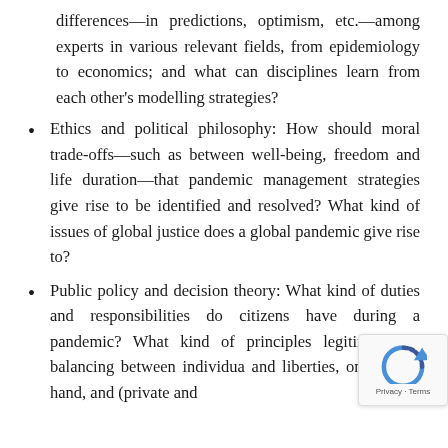differences—in predictions, optimism, etc.—among experts in various relevant fields, from epidemiology to economics; and what can disciplines learn from each other's modelling strategies?
Ethics and political philosophy: How should moral trade-offs—such as between well-being, freedom and life duration—that pandemic management strategies give rise to be identified and resolved? What kind of issues of global justice does a global pandemic give rise to?
Public policy and decision theory: What kind of duties and responsibilities do citizens have during a pandemic? What kind of principles legitimise the balancing between individual and liberties, on the one hand, and (private and